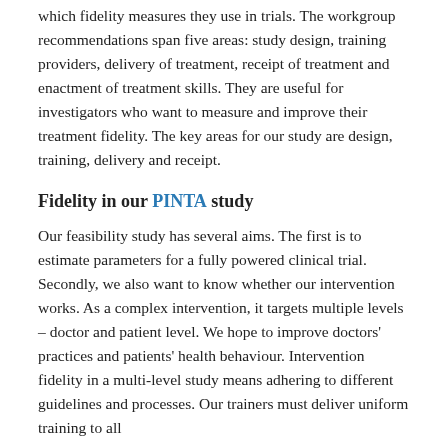which fidelity measures they use in trials. The workgroup recommendations span five areas: study design, training providers, delivery of treatment, receipt of treatment and enactment of treatment skills. They are useful for investigators who want to measure and improve their treatment fidelity. The key areas for our study are design, training, delivery and receipt.
Fidelity in our PINTA study
Our feasibility study has several aims. The first is to estimate parameters for a fully powered clinical trial. Secondly, we also want to know whether our intervention works. As a complex intervention, it targets multiple levels – doctor and patient level. We hope to improve doctors' practices and patients' health behaviour. Intervention fidelity in a multi-level study means adhering to different guidelines and processes. Our trainers must deliver uniform training to all